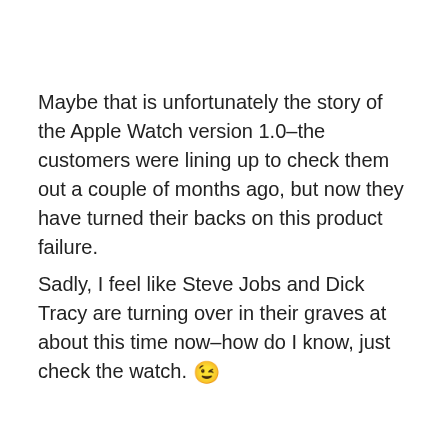Maybe that is unfortunately the story of the Apple Watch version 1.0–the customers were lining up to check them out a couple of months ago, but now they have turned their backs on this product failure.
Sadly, I feel like Steve Jobs and Dick Tracy are turning over in their graves at about this time now–how do I know, just check the watch. 😉